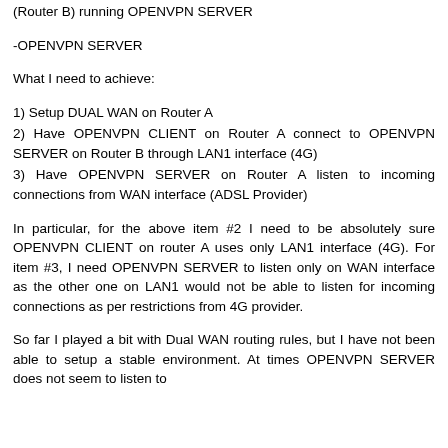(Router B) running OPENVPN SERVER
-OPENVPN SERVER
What I need to achieve:
1) Setup DUAL WAN on Router A
2) Have OPENVPN CLIENT on Router A connect to OPENVPN SERVER on Router B through LAN1 interface (4G)
3) Have OPENVPN SERVER on Router A listen to incoming connections from WAN interface (ADSL Provider)
In particular, for the above item #2 I need to be absolutely sure OPENVPN CLIENT on router A uses only LAN1 interface (4G). For item #3, I need OPENVPN SERVER to listen only on WAN interface as the other one on LAN1 would not be able to listen for incoming connections as per restrictions from 4G provider.
So far I played a bit with Dual WAN routing rules, but I have not been able to setup a stable environment. At times OPENVPN SERVER does not seem to listen to